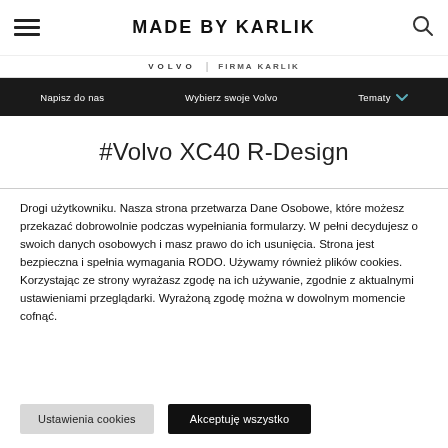MADE BY KARLIK
VOLVO | FIRMA KARLIK
Napisz do nas   Wybierz swoje Volvo   Tematy
#Volvo XC40 R-Design
Drogi użytkowniku. Nasza strona przetwarza Dane Osobowe, które możesz przekazać dobrowolnie podczas wypełniania formularzy. W pełni decydujesz o swoich danych osobowych i masz prawo do ich usunięcia. Strona jest bezpieczna i spełnia wymagania RODO. Używamy również plików cookies. Korzystając ze strony wyrażasz zgodę na ich używanie, zgodnie z aktualnymi ustawieniami przeglądarki. Wyrażoną zgodę można w dowolnym momencie cofnąć.
Ustawienia cookies
Akceptuję wszystko